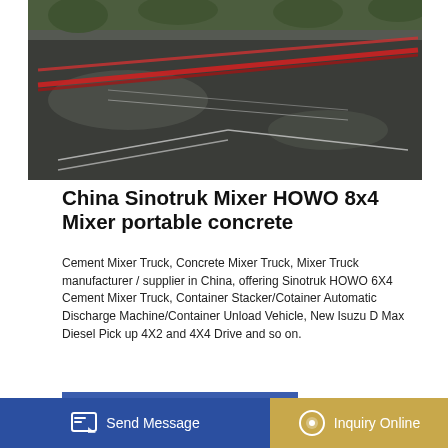[Figure (photo): Aerial/overhead view of a construction site with gravel/aggregate spread over a large area, with red pipes/tubes visible across the surface]
China Sinotruk Mixer HOWO 8x4 Mixer portable concrete
Cement Mixer Truck, Concrete Mixer Truck, Mixer Truck manufacturer / supplier in China, offering Sinotruk HOWO 6X4 Cement Mixer Truck, Container Stacker/Cotainer Automatic Discharge Machine/Container Unload Vehicle, New Isuzu D Max Diesel Pick up 4X2 and 4X4 Drive and so on.
GET A QUOTE
[Figure (photo): Close-up photo of a blue concrete mixer machine, showing the drum and mixing components]
Send Message
Inquiry Online